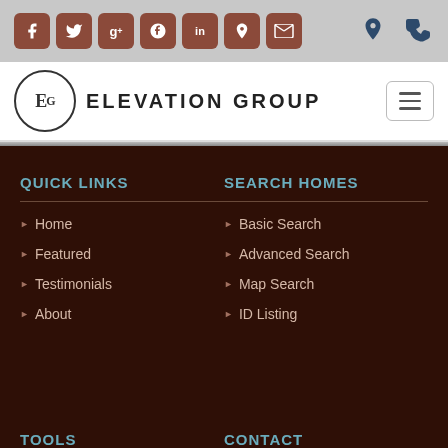[Figure (screenshot): Top navigation bar with social media icons (Facebook, Twitter, Google+, Pinterest, LinkedIn, Yelp, RSS) and location/phone icons on a gray background]
[Figure (logo): Elevation Group logo with EG monogram in a circle and brand name text, with hamburger menu button]
QUICK LINKS
Home
Featured
Testimonials
About
SEARCH HOMES
Basic Search
Advanced Search
Map Search
ID Listing
TOOLS
CONTACT